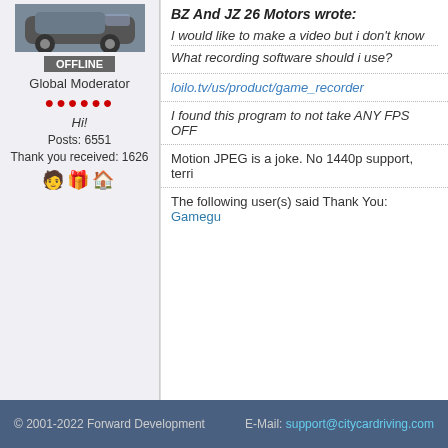[Figure (photo): Car photo thumbnail at top of user profile panel]
OFFLINE
Global Moderator
● ● ● ● ● ●
Hi!
Posts: 6551
Thank you received: 1626
🧑 🎁 🏠
BZ And JZ 26 Motors wrote:
I would like to make a video but i don't know
What recording software should i use?
loilo.tv/us/product/game_recorder
I found this program to not take ANY FPS OFF
Motion JPEG is a joke. No 1440p support, terri
The following user(s) said Thank You: Gamegu
Moderators: jericho, David02, THETJVIDCHANNEL
FORUM ▶ Other ▶ Offtopic ▶ Post Here Your New Youtube Video's
© 2001-2022 Forward Development    E-Mail: support@citycardriving.com